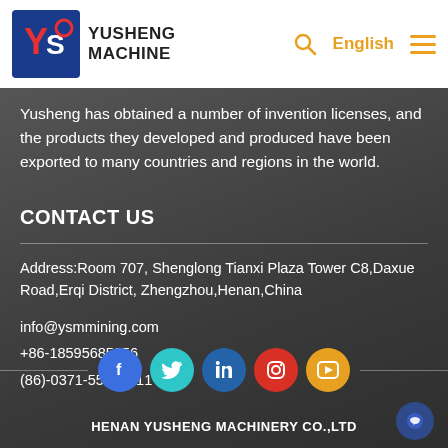YUSHENG MACHINE
Yusheng has obtained a number of invention licenses, and the products they developed and produced have been exported to many countries and regions in the world.
CONTACT US
Address:Room 707, Shenglong Tianxi Plaza Tower C8,Daxue Road,Erqi District, Zhengzhou,Henan,China
info@ysmmining.com
+86-18595685056
(86)-0371-55030811
[Figure (infographic): Social media icons: Facebook (blue), Twitter (cyan), LinkedIn (dark blue), Instagram (red), YouTube (orange)]
HENAN YUSHENG MACHINERY CO.,LTD